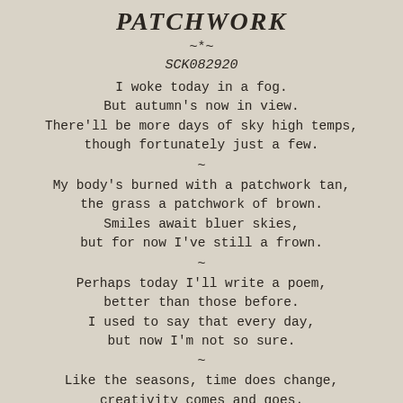PATCHWORK
~*~
SCK082920
I woke today in a fog.
But autumn's now in view.
There'll be more days of sky high temps,
though fortunately just a few.
~
My body's burned with a patchwork tan,
the grass a patchwork of brown.
Smiles await bluer skies,
but for now I've still a frown.
~
Perhaps today I'll write a poem,
better than those before.
I used to say that every day,
but now I'm not so sure.
~
Like the seasons, time does change,
creativity comes and goes.